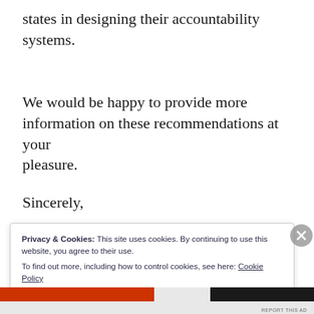states in designing their accountability systems.
We would be happy to provide more information on these recommendations at your pleasure.
Sincerely,
Privacy & Cookies: This site uses cookies. By continuing to use this website, you agree to their use. To find out more, including how to control cookies, see here: Cookie Policy
Close and accept